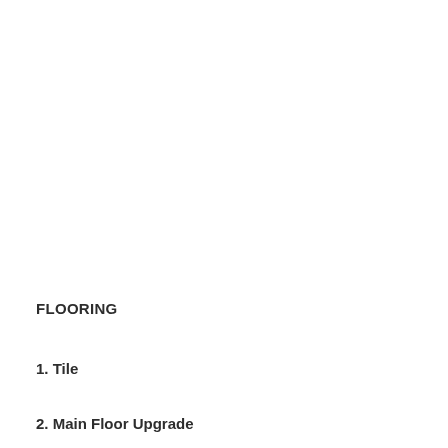FLOORING
1. Tile
2. Main Floor Upgrade